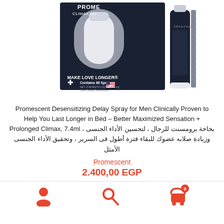[Figure (photo): Product photo of Promescent Desensitizing Delay Spray box and bottle. Dark navy box with 'PROME CLIMAX CO' and 'MAKE LOVE LONGER' text, 'Contains 60 Sprays NET CONTENTS 0.25 fl oz (7.4 ml) Male Genital Desensitizer', Made in USA flag, plus a dark bottle labeled 'PROMESCENT'.]
Promescent Desensitizing Delay Spray for Men Clinically Proven to Help You Last Longer in Bed – Better Maximized Sensation + Prolonged Climax, 7.4ml بخاخة برومسنت للرجال ، لتحسين الأداء الجنسى ، وزيادة صلابه عضوك للبقاء فترة أطول فى السرير ، وتحقيق الأداء الجنسى الأمثل
Promescent
2.400,00 EGP